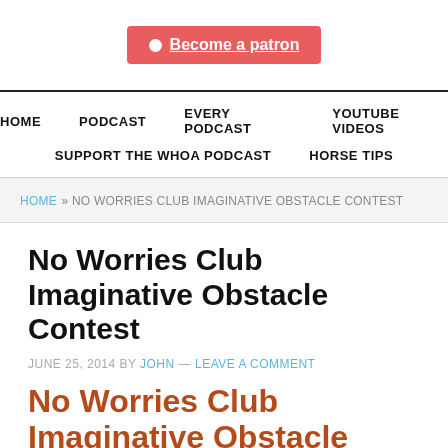[Figure (logo): Patreon button with 'Become a patron' text on red background]
HOME   PODCAST   EVERY PODCAST   YOUTUBE VIDEOS   SUPPORT THE WHOA PODCAST   HORSE TIPS
HOME » NO WORRIES CLUB IMAGINATIVE OBSTACLE CONTEST
No Worries Club Imaginative Obstacle Contest
JUNE 25, 2014 BY JOHN — LEAVE A COMMENT
No Worries Club Imaginative Obstacle